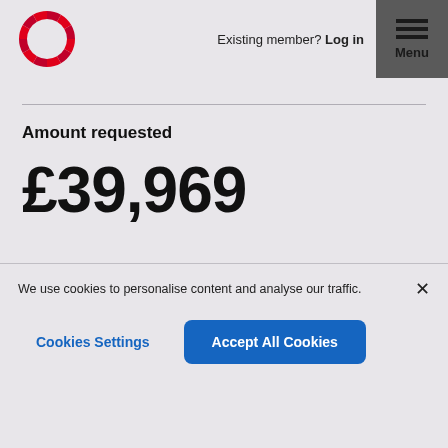[Figure (logo): Circular red segmented logo (Skipton Building Society style)]
Existing member? Log in
Menu
Amount requested
£39,969
We use cookies to personalise content and analyse our traffic.
Cookies Settings
Accept All Cookies